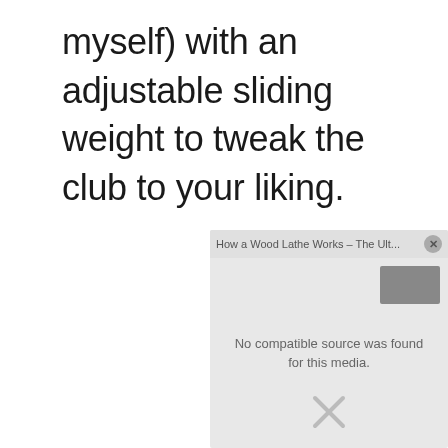myself) with an adjustable sliding weight to tweak the club to your liking.
[Figure (screenshot): Embedded video player overlay showing error message 'No compatible source was found for this media.' with title bar reading 'How a Wood Lathe Works – The Ult...' and a close button, a gray thumbnail in top-right corner, and an X dismiss icon at the bottom center.]